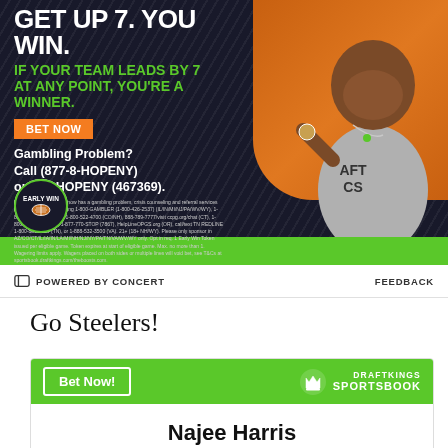[Figure (photo): DraftKings Sportsbook ad featuring Kevin Hart. Dark background with diagonal stripes. Text: 'GET UP 7. YOU WIN. IF YOUR TEAM LEADS BY 7 AT ANY POINT, YOU'RE A WINNER.' Orange 'BET NOW' button. 'Gambling Problem? Call (877-8-HOPENY) or text HOPENY (467369).' Early Win badge. Green bottom bar. Kevin Hart photo on right.]
POWERED BY CONCERT    FEEDBACK
Go Steelers!
[Figure (screenshot): DraftKings Sportsbook widget with green header containing 'Bet Now!' button and DraftKings Sportsbook logo. Body shows player name 'Najee Harris'. Grey bottom section.]